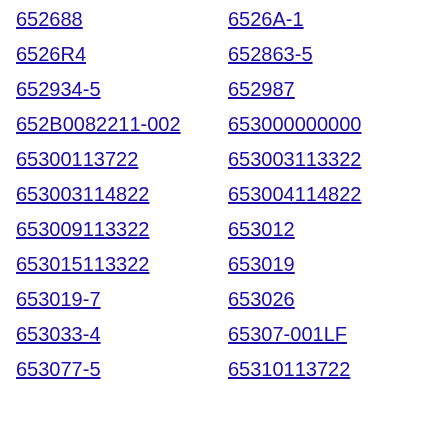652688
6526A-1
6526R4
652863-5
652934-5
652987
652B0082211-002
653000000000
65300113722
653003113322
653003114822
653004114822
653009113322
653012
653015113322
653019
653019-7
653026
653033-4
65307-001LF
653077-5
65310113722